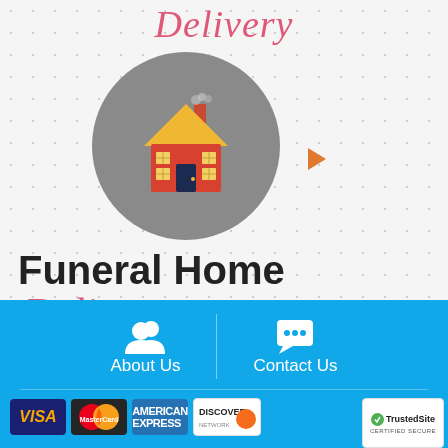Delivery
[Figure (illustration): Gray circle with a flat-style illustration of a house (yellow roof, red walls, dark blue door, yellow windows, chimney with smoke) representing a funeral home.]
Funeral Home Delivery
[Figure (infographic): Blue footer bar with About Us (people icon) and Contact Us (chat bubble icon) links separated by a divider. Below are payment icons: Visa, MasterCard, American Express, Discover. TrustedSite certified secure badge on the right.]